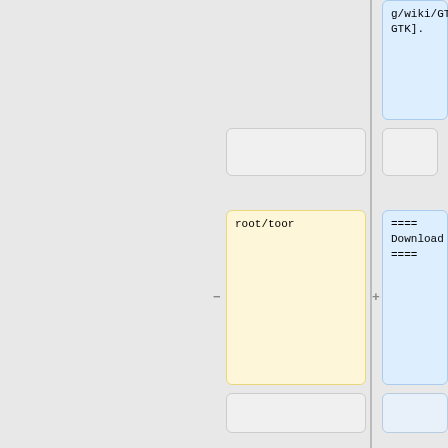g/wiki/GTK GTK].
root/toor
==== Download ====
You may use <code>sudo</code> directly.
* [http://maedevu.maemo.org/images/pinephone/ Maemo Leste test builds]
'''What works, what
There is also an